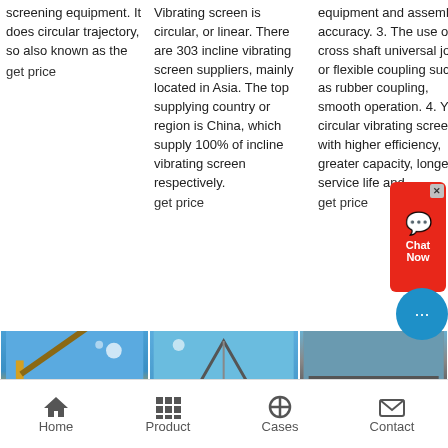screening equipment. It does circular trajectory, so also known as the
get price
Vibrating screen is circular, or linear. There are 303 incline vibrating screen suppliers, mainly located in Asia. The top supplying country or region is China, which supply 100% of incline vibrating screen respectively.
get price
equipment and assembly accuracy. 3. The use of cross shaft universal joint or flexible coupling such as rubber coupling, smooth operation. 4. YK circular vibrating screen with higher efficiency, greater capacity, longer service life and
get price
[Figure (photo): Industrial screening/conveyor machine against blue sky]
[Figure (photo): Industrial machinery with triangular structure against blue sky]
[Figure (photo): Close-up of industrial vibrating screen equipment]
Home   Product   Cases   Contact